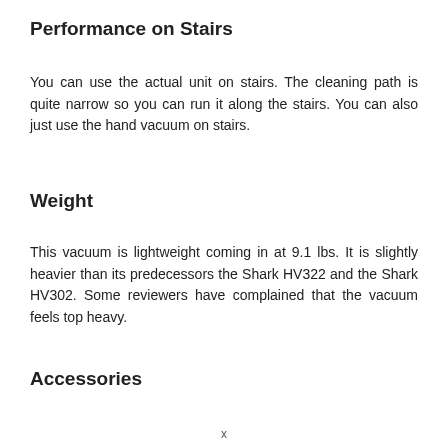Performance on Stairs
You can use the actual unit on stairs. The cleaning path is quite narrow so you can run it along the stairs. You can also just use the hand vacuum on stairs.
Weight
This vacuum is lightweight coming in at 9.1 lbs. It is slightly heavier than its predecessors the Shark HV322 and the Shark HV302. Some reviewers have complained that the vacuum feels top heavy.
Accessories
x